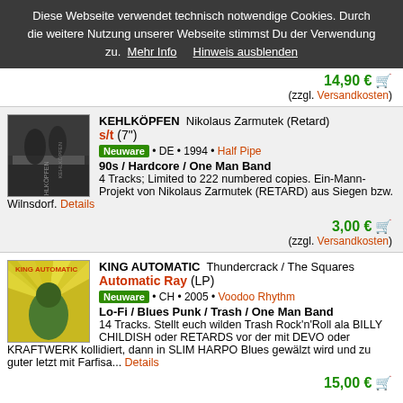Diese Webseite verwendet technisch notwendige Cookies. Durch die weitere Nutzung unserer Webseite stimmst Du der Verwendung zu.  Mehr Info      Hinweis ausblenden
14,90 € (zzgl. Versandkosten)
KEHLKÖPFEN  Nikolaus Zarmutek (Retard)
s/t (7")
Neuware • DE • 1994 • Half Pipe
90s / Hardcore / One Man Band
4 Tracks; Limited to 222 numbered copies. Ein-Mann-Projekt von Nikolaus Zarmutek (RETARD) aus Siegen bzw. Wilnsdorf. Details
3,00 € (zzgl. Versandkosten)
KING AUTOMATIC  Thundercrack / The Squares
Automatic Ray (LP)
Neuware • CH • 2005 • Voodoo Rhythm
Lo-Fi / Blues Punk / Trash / One Man Band
14 Tracks. Stellt euch wilden Trash Rock'n'Roll ala BILLY CHILDISH oder RETARDS vor der mit DEVO oder KRAFTWERK kollidiert, dann in SLIM HARPO Blues gewälzt wird und zu guter letzt mit Farfisa... Details
15,00 €